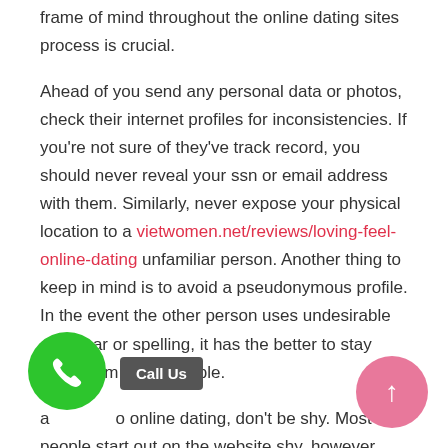frame of mind throughout the online dating sites process is crucial.

Ahead of you send any personal data or photos, check their internet profiles for inconsistencies. If you're not sure of they've track record, you should never reveal your ssn or email address with them. Similarly, never expose your physical location to a vietwomen.net/reviews/loving-feel-online-dating unfamiliar person. Another thing to keep in mind is to avoid a pseudonymous profile. In the event the other person uses undesirable grammar or spelling, it has the better to stay away from these people.

a Call Us o online dating, don't be shy. Most people start out on the website shy, however, you